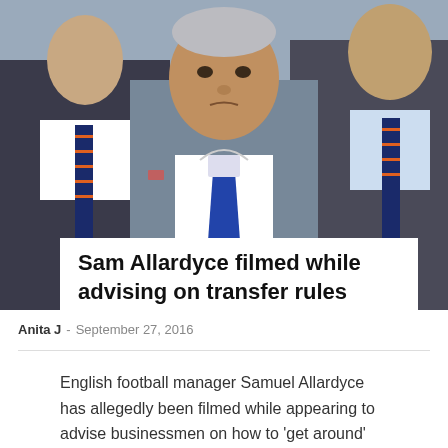[Figure (photo): Sam Allardyce seated in stands wearing a grey suit and blue tie with a lanyard, flanked by two other men in suits with navy and orange striped ties]
Sam Allardyce filmed while advising on transfer rules
Anita J - September 27, 2016
English football manager Samuel Allardyce has allegedly been filmed while appearing to advise businessmen on how to 'get around' rules in